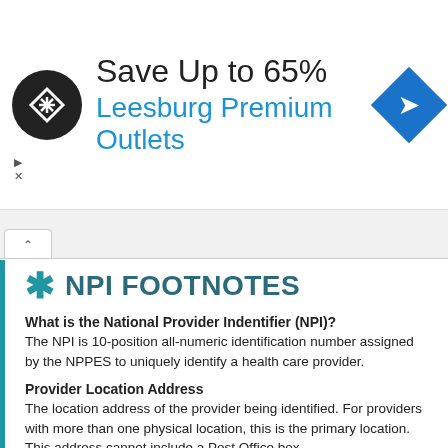[Figure (other): Advertisement banner: 'Save Up to 65% Leesburg Premium Outlets' with circular logo and navigation diamond icon]
NPI FOOTNOTES
What is the National Provider Indentifier (NPI)?
The NPI is 10-position all-numeric identification number assigned by the NPPES to uniquely identify a health care provider.
Provider Location Address
The location address of the provider being identified. For providers with more than one physical location, this is the primary location. This address cannot include a Post Office box.
Provider Mailing Address
The mailing address of the provider being identified. This address may contain the same information as the provider